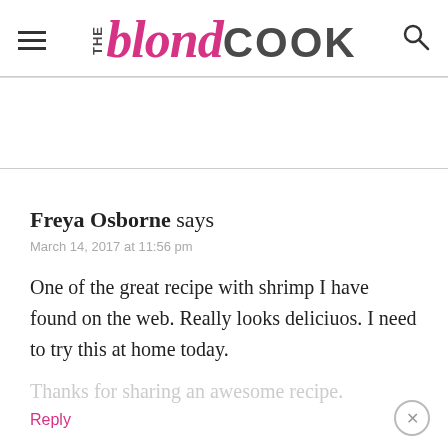THE blond COOK
Freya Osborne says
March 14, 2017 at 11:56 pm
One of the great recipe with shrimp I have found on the web. Really looks deliciuos. I need to try this at home today.
Thanks for sharing an awesome recipe.
Reply